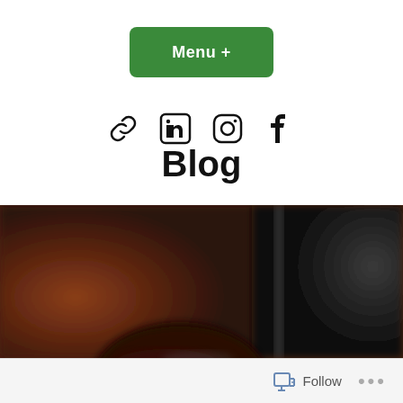[Figure (other): Green rounded rectangle button labeled 'Menu +']
[Figure (other): Row of four social media icons: chain link, LinkedIn, Instagram, Facebook]
Blog
[Figure (photo): Blurred photo showing the top of a person's dark-haired head against a brick wall background]
Follow  ...